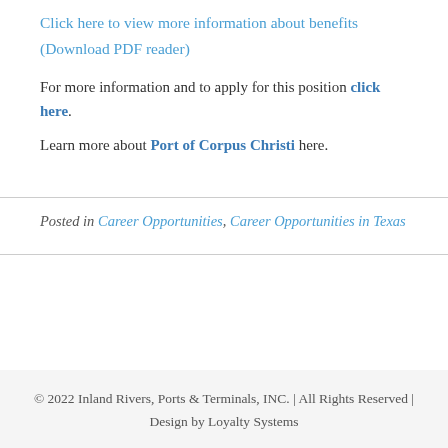Click here to view more information about benefits (Download PDF reader)
For more information and to apply for this position click here.
Learn more about Port of Corpus Christi here.
Posted in Career Opportunities, Career Opportunities in Texas
© 2022 Inland Rivers, Ports & Terminals, INC. | All Rights Reserved | Design by Loyalty Systems